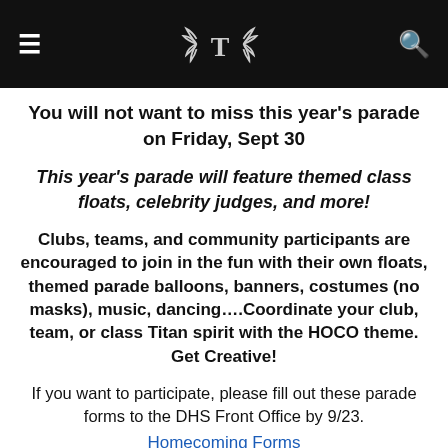≡  [T logo]  🔍
You will not want to miss this year's parade on Friday, Sept 30
This year's parade will feature themed class floats, celebrity judges, and more!
Clubs, teams, and community participants are encouraged to join in the fun with their own floats, themed parade balloons, banners, costumes (no masks), music, dancing….Coordinate your club, team, or class Titan spirit with the HOCO theme. Get Creative!
If you want to participate, please fill out these parade forms to the DHS Front Office by 9/23.
Homecoming Forms
BOTH forms must be filled out by September 23 at the